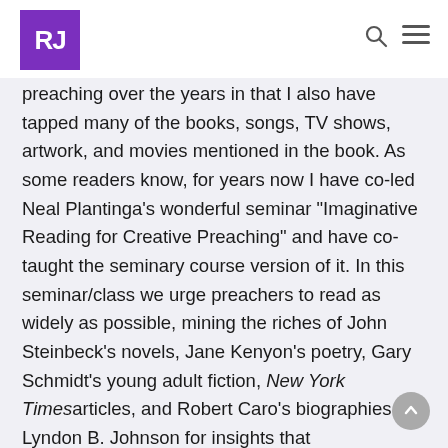RJ
preaching over the years in that I also have tapped many of the books, songs, TV shows, artwork, and movies mentioned in the book. As some readers know, for years now I have co-led Neal Plantinga’s wonderful seminar “Imaginative Reading for Creative Preaching” and have co-taught the seminary course version of it. In this seminar/class we urge preachers to read as widely as possible, mining the riches of John Steinbeck’s novels, Jane Kenyon’s poetry, Gary Schmidt’s young adult fiction, New York Times articles, and Robert Caro’s biographies of Lyndon B. Johnson for insights that